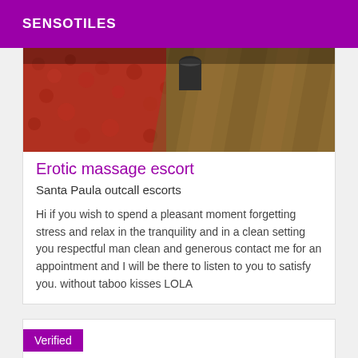SENSOTILES
[Figure (photo): Close-up photo of textile/fabric surfaces with red and golden-brown colors, with a dark metallic object visible.]
Erotic massage escort
Santa Paula outcall escorts
Hi if you wish to spend a pleasant moment forgetting stress and relax in the tranquility and in a clean setting you respectful man clean and generous contact me for an appointment and I will be there to listen to you to satisfy you. without taboo kisses LOLA
Verified